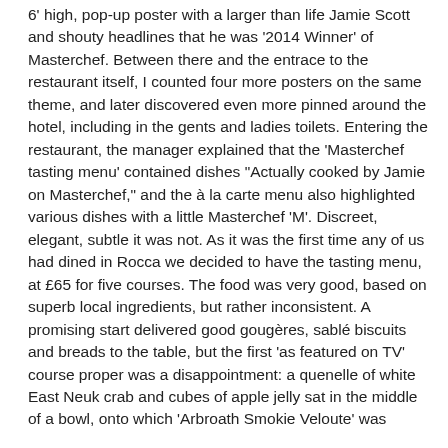6' high, pop-up poster with a larger than life Jamie Scott and shouty headlines that he was '2014 Winner' of Masterchef. Between there and the entrace to the restaurant itself, I counted four more posters on the same theme, and later discovered even more pinned around the hotel, including in the gents and ladies toilets. Entering the restaurant, the manager explained that the 'Masterchef tasting menu' contained dishes "Actually cooked by Jamie on Masterchef," and the à la carte menu also highlighted various dishes with a little Masterchef 'M'. Discreet, elegant, subtle it was not. As it was the first time any of us had dined in Rocca we decided to have the tasting menu, at £65 for five courses. The food was very good, based on superb local ingredients, but rather inconsistent. A promising start delivered good gougères, sablé biscuits and breads to the table, but the first 'as featured on TV' course proper was a disappointment: a quenelle of white East Neuk crab and cubes of apple jelly sat in the middle of a bowl, onto which 'Arbroath Smokie Veloute' was